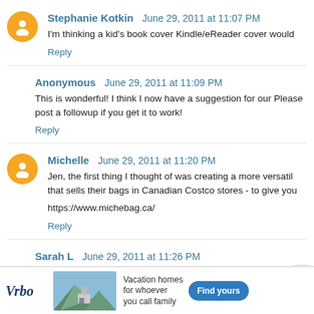Stephanie Kotkin  June 29, 2011 at 11:07 PM
I'm thinking a kid's book cover Kindle/eReader cover would
Reply
Anonymous  June 29, 2011 at 11:09 PM
This is wonderful! I think I now have a suggestion for our Please post a followup if you get it to work!
Reply
Michelle  June 29, 2011 at 11:20 PM
Jen, the first thing I thought of was creating a more versatil that sells their bags in Canadian Costco stores - to give you
https://www.michebag.ca/
Reply
Sarah L  June 29, 2011 at 11:26 PM
[Figure (infographic): Vrbo advertisement banner with logo, mountain cabin photo, 'Vacation homes for whoever you call family' text, and 'Find yours' button]